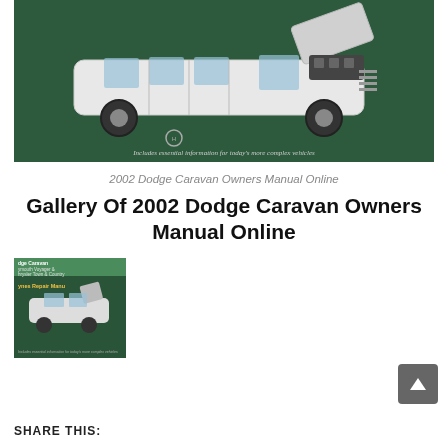[Figure (photo): Book cover photo of a Dodge Caravan / Chrysler minivan repair manual showing a white minivan with hood open against a dark green background]
2002 Dodge Caravan Owners Manual Online
Gallery Of 2002 Dodge Caravan Owners Manual Online
[Figure (photo): Thumbnail of the same Haynes Repair Manual book cover for Dodge Caravan, Plymouth Voyager & Chrysler Town & Country]
SHARE THIS: